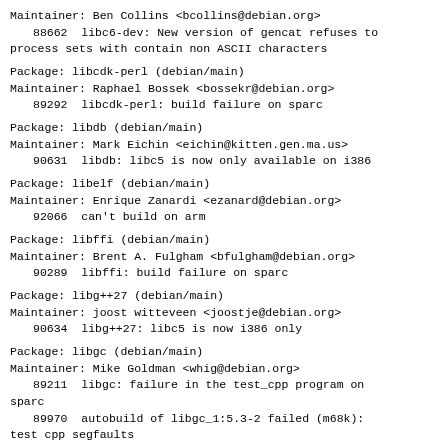Maintainer: Ben Collins <bcollins@debian.org>
  88662  libc6-dev: New version of gencat refuses to process sets with contain non ASCII characters
Package: libcdk-perl (debian/main)
Maintainer: Raphael Bossek <bossekr@debian.org>
  89292  libcdk-perl: build failure on sparc
Package: libdb (debian/main)
Maintainer: Mark Eichin <eichin@kitten.gen.ma.us>
  90631  libdb: libc5 is now only available on i386
Package: libelf (debian/main)
Maintainer: Enrique Zanardi <ezanard@debian.org>
  92066  can't build on arm
Package: libffi (debian/main)
Maintainer: Brent A. Fulgham <bfulgham@debian.org>
  90289  libffi: build failure on sparc
Package: libg++27 (debian/main)
Maintainer: joost witteveen <joostje@debian.org>
  90634  libg++27: libc5 is now i386 only
Package: libgc (debian/main)
Maintainer: Mike Goldman <whig@debian.org>
  89211  libgc: failure in the test_cpp program on sparc
  89970  autobuild of libgc_1:5.3-2 failed (m68k): test cpp segfaults